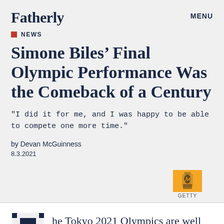Fatherly
MENU
NEWS
Simone Biles’ Final Olympic Performance Was the Comeback of a Century
"I did it for me, and I was happy to be able to compete one more time."
by Devan McGuinness
8.3.2021
[Figure (photo): Getty image thumbnail with yellow/orange background showing a figure, labeled GETTY]
he Tokyo 2021 Olympics are well